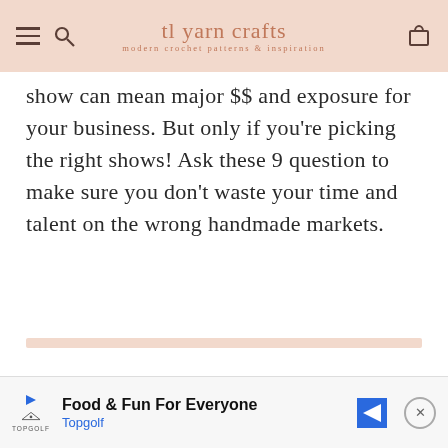tl yarn crafts — modern crochet patterns & inspiration
show can mean major $$ and exposure for your business. But only if you're picking the right shows! Ask these 9 question to make sure you don't waste your time and talent on the wrong handmade markets.
[Figure (other): Horizontal salmon/peach colored divider bar]
[Figure (other): Advertisement banner: Food & Fun For Everyone - Topgolf, with Topgolf shield logo and blue arrow sign icon]